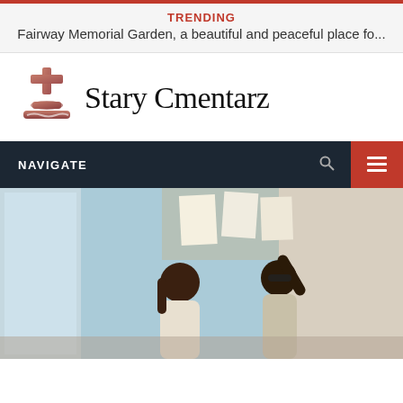TRENDING
Fairway Memorial Garden, a beautiful and peaceful place fo...
[Figure (logo): Stary Cmentarz logo with a pink/red gravestone and cross icon on the left, and the text 'Stary Cmentarz' in serif font on the right]
NAVIGATE
[Figure (photo): Photo of two young Black children, one wearing sunglasses with hand raised, in what appears to be a classroom or indoor setting with blue walls and papers on a bulletin board]